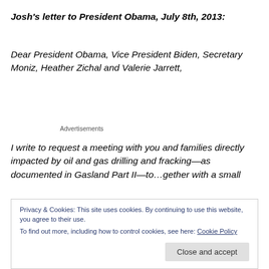Josh's letter to President Obama, July 8th, 2013:
Dear President Obama, Vice President Biden, Secretary Moniz, Heather Zichal and Valerie Jarrett,
Advertisements
I write to request a meeting with you and families directly impacted by oil and gas drilling and fracking—as documented in Gasland Part II—to…gether with a small
Privacy & Cookies: This site uses cookies. By continuing to use this website, you agree to their use.
To find out more, including how to control cookies, see here: Cookie Policy